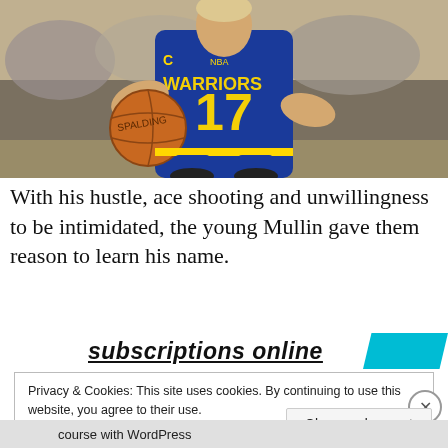[Figure (photo): Basketball player wearing Golden State Warriors #17 blue jersey dribbling a Spalding basketball, with crowd in background]
With his hustle, ace shooting and unwillingness to be intimidated, the young Mullin gave them reason to learn his name.
subscriptions online
Privacy & Cookies: This site uses cookies. By continuing to use this website, you agree to their use.
To find out more, including how to control cookies, see here: Cookie Policy
Close and accept